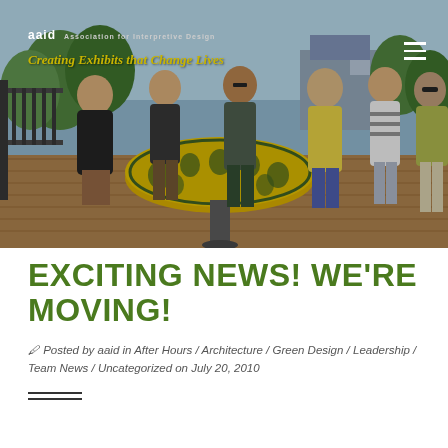[Figure (photo): Group photo of approximately 6 people standing on an outdoor deck around a round table with a yellow and blue floral tablecloth. Trees and a building are visible in the background. The image has a website header overlay with the logo 'aaid' and tagline 'Creating Exhibits that Change Lives' in golden italic text, plus a hamburger menu icon in the top right.]
EXCITING NEWS! WE'RE MOVING!
Posted by aaid in After Hours / Architecture / Green Design / Leadership / Team News / Uncategorized on July 20, 2010